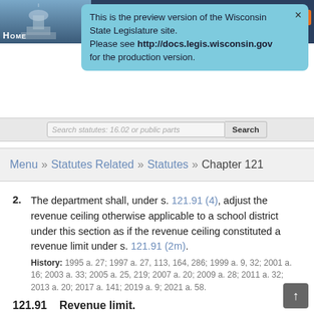[Figure (screenshot): Wisconsin State Legislature website header with dark blue background and capitol building image]
This is the preview version of the Wisconsin State Legislature site. Please see http://docs.legis.wisconsin.gov for the production version.
Menu » Statutes Related » Statutes » Chapter 121
2. The department shall, under s. 121.91 (4), adjust the revenue ceiling otherwise applicable to a school district under this section as if the revenue ceiling constituted a revenue limit under s. 121.91 (2m).
History: 1995 a. 27; 1997 a. 27, 113, 164, 286; 1999 a. 9, 32; 2001 a. 16; 2003 a. 33; 2005 a. 25, 219; 2007 a. 20; 2009 a. 28; 2011 a. 32; 2013 a. 20; 2017 a. 141; 2019 a. 9; 2021 a. 58.
121.91    Revenue limit.
(2m)
(a) Except as provided in subs. (3) and (4), no school district may increase its revenues for the 1995-96 school year to